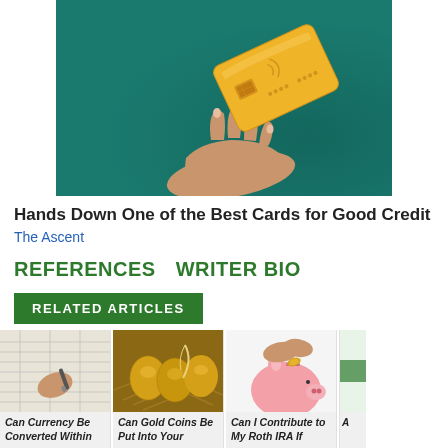[Figure (photo): A hand with an outstretched palm, a gold credit card floating above it, on a teal/green background]
Hands Down One of the Best Cards for Good Credit
The Ascent
REFERENCES   WRITER BIO
RELATED ARTICLES
[Figure (photo): A hand writing on paper/spreadsheet with a pen]
[Figure (photo): Golden eggs in a nest with a feather]
[Figure (photo): Hands inserting coins into a pink piggy bank]
[Figure (photo): Partial image with green element]
Can Currency Be Converted Within
Can Gold Coins Be Put Into Your
Can I Contribute to My Roth IRA If
A